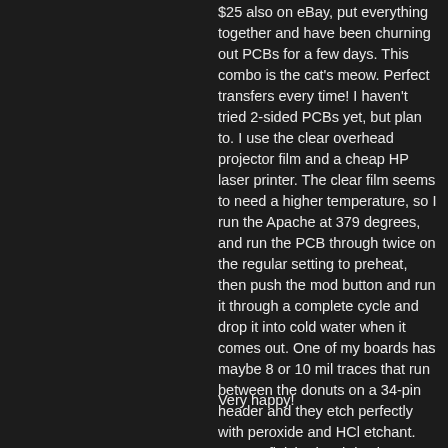$25 also on eBay, put everything together and have been churning out PCBs for a few days. This combo is the cat's meow. Perfect transfers every time! I haven't tried 2-sided PCBs yet, but plan to. I use the clear overhead projector film and a cheap HP laser printer. The clear film seems to need a higher temperature, so I run the Apache at 379 degrees, and run the PCB through twice on the regular setting to preheat, then push the mod button and run it through a complete cycle and drop it into cold water when it comes out. One of my boards has maybe 8 or 10 mil traces that run between the donuts on a 34-pin header and they etch perfectly with peroxide and HCl etchant. Start to finished etch is about 15 minutes, and I run 3 boards at a time (4" x 6"). This really takes the guess-work out of PCB-making and all for way less than $100 US.
Very happy!